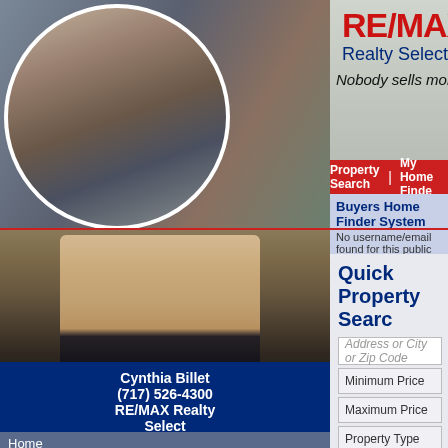[Figure (photo): RE/MAX Realty Select header with family photo in circle and RE/MAX balloon logo. Text: RE/MAX Realty Select, Nobody sells more real estate than]
Property Search | My Home Finder
Buyers Home Finder System
No username/email found for this public
[Figure (photo): Headshot of blonde woman in dark jacket (agent photo)]
Cynthia Billet
(717) 526-4300
RE/MAX Realty Select
Home
Quick Property Search
Address or City or Zip Code
Minimum Price
Maximum Price
Property Type
Beds
advanced search